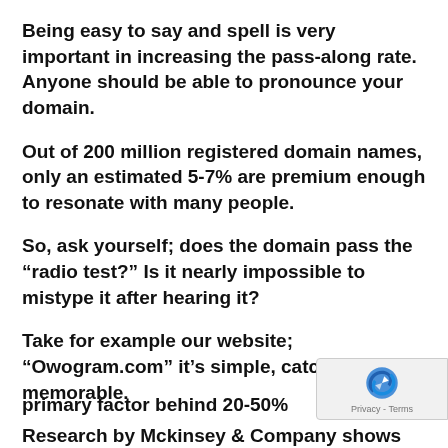Being easy to say and spell is very important in increasing the pass-along rate. Anyone should be able to pronounce your domain.
Out of 200 million registered domain names, only an estimated 5-7% are premium enough to resonate with many people.
So, ask yourself; does the domain pass the “radio test?” Is it nearly impossible to mistype it after hearing it?
Take for example our website; “Owogram.com” it’s simple, catchy and memorable.
Research by Mckinsey & Company shows word of mouth is a primary factor behind 20-50% of all purchasing decisions...